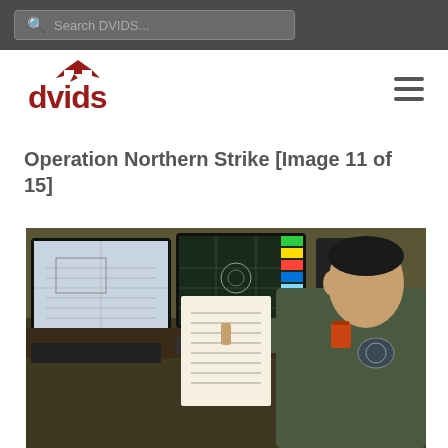Search DVIDS...
[Figure (logo): DVIDS logo in dark red with a stylized aircraft above the letters dvids]
Operation Northern Strike [Image 11 of 15]
[Figure (photo): Military personnel in olive green flight suit sitting at a desk with multiple computer monitors displaying tactical maps and colorful data screens, reviewing a paper document and pointing at it, in an operations center environment]